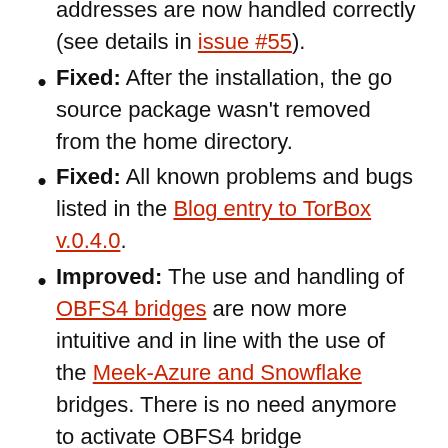addresses are now handled correctly (see details in issue #55).
Fixed: After the installation, the go source package wasn't removed from the home directory.
Fixed: All known problems and bugs listed in the Blog entry to TorBox v.0.4.0.
Improved: The use and handling of OBFS4 bridges are now more intuitive and in line with the use of the Meek-Azure and Snowflake bridges. There is no need anymore to activate OBFS4 bridge functionality in two steps.